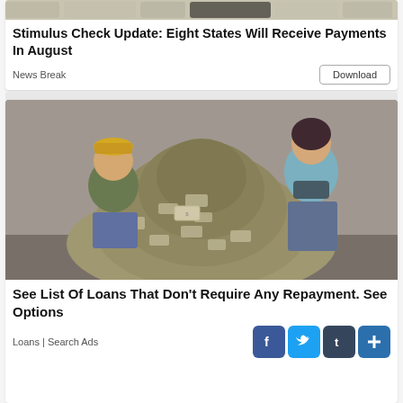[Figure (illustration): Money/currency themed illustration strip at top of first card]
Stimulus Check Update: Eight States Will Receive Payments In August
News Break
[Figure (photo): Two people posing with a large pile of cash/money bills. A man in a green jacket and yellow cap kneels on the left, a woman in a blue sweater stands on the right.]
See List Of Loans That Don't Require Any Repayment. See Options
Loans | Search Ads